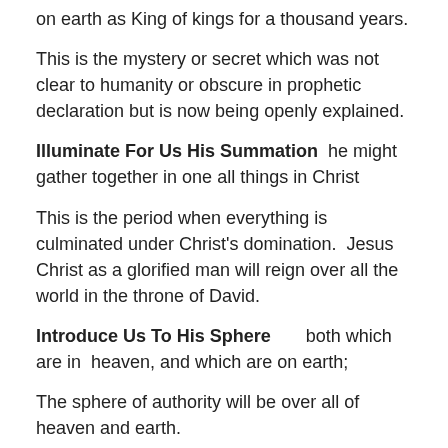on earth as King of kings for a thousand years.
This is the mystery or secret which was not clear to humanity or obscure in prophetic declaration but is now being openly explained.
Illuminate For Us His Summation  he might gather together in one all things in Christ
This is the period when everything is culminated under Christ's domination.  Jesus Christ as a glorified man will reign over all the world in the throne of David.
Introduce Us To His Sphere      both which are in  heaven, and which are on earth;
The sphere of authority will be over all of heaven and earth.